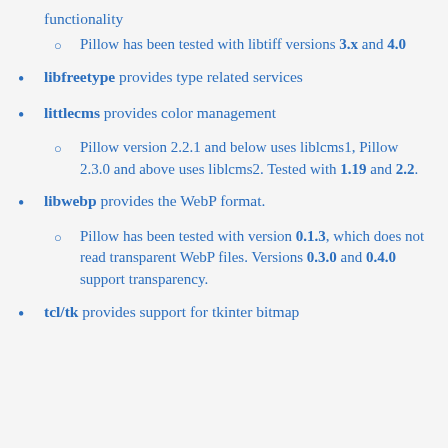functionality
Pillow has been tested with libtiff versions 3.x and 4.0
libfreetype provides type related services
littlecms provides color management
Pillow version 2.2.1 and below uses liblcms1, Pillow 2.3.0 and above uses liblcms2. Tested with 1.19 and 2.2.
libwebp provides the WebP format.
Pillow has been tested with version 0.1.3, which does not read transparent WebP files. Versions 0.3.0 and 0.4.0 support transparency.
tcl/tk provides support for tkinter bitmap